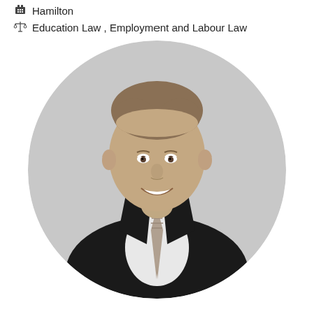Hamilton
Education Law , Employment and Labour Law
[Figure (photo): Black and white professional headshot of a young man in a dark suit and tie, smiling, displayed in a circular crop against a light grey background.]